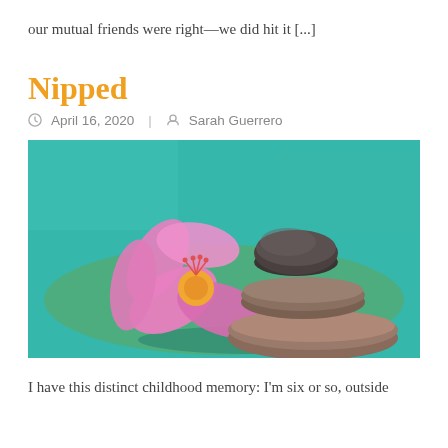our mutual friends were right—we did hit it [...]
Nipped
April 16, 2020  Sarah Guerrero
[Figure (photo): A pink flower (hibiscus) beside a stack of three smooth zen stones on a teal/turquoise textured surface.]
I have this distinct childhood memory: I'm six or so, outside